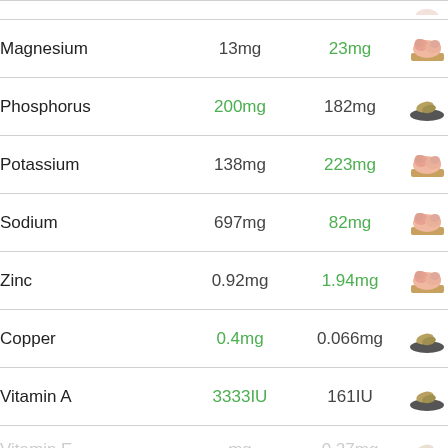| Nutrient | Value 1 | Value 2 | Food |
| --- | --- | --- | --- |
| Magnesium | 13mg | 23mg |  |
| Phosphorus | 200mg | 182mg |  |
| Potassium | 138mg | 223mg |  |
| Sodium | 697mg | 82mg |  |
| Zinc | 0.92mg | 1.94mg |  |
| Copper | 0.4mg | 0.066mg |  |
| Vitamin A | 3333IU | 161IU |  |
| Vitamin E | mg | 0.27mg |  |